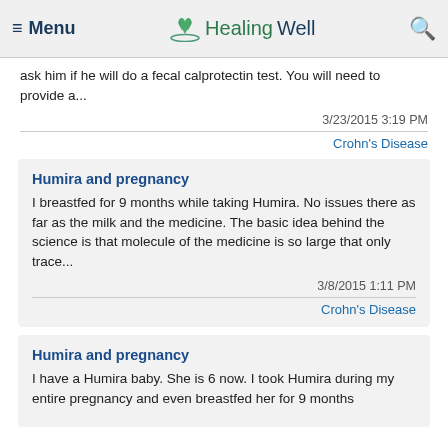Menu | HealingWell | Search
ask him if he will do a fecal calprotectin test. You will need to provide a...
3/23/2015 3:19 PM
Crohn's Disease
Humira and pregnancy
I breastfed for 9 months while taking Humira. No issues there as far as the milk and the medicine. The basic idea behind the science is that molecule of the medicine is so large that only trace...
3/8/2015 1:11 PM
Crohn's Disease
Humira and pregnancy
I have a Humira baby. She is 6 now. I took Humira during my entire pregnancy and even breastfed her for 9 months